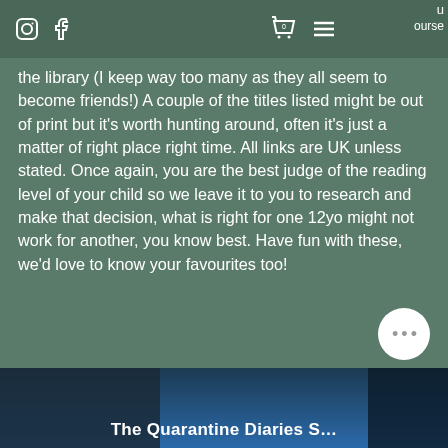Instagram | Facebook | Cart (0) | Menu | u ourse
the library (I keep way too many as they all seem to become friends!) A couple of the titles listed might be out of print but it's worth hunting around, often it's just a matter of right place right time. All links are UK unless stated. Once again, you are the best judge of the reading level of your child so we leave it to you to research and make that decision, what is right for one 12yo might not work for another, you know best. Have fun with these, we'd love to know your favourites too!
The Quarantine Diaries S…